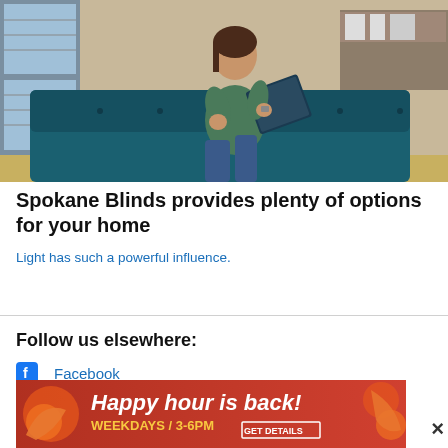[Figure (photo): Woman sitting on a teal/dark blue tufted sofa, holding an open binder/book. Room interior with windows and shelving visible in background.]
Spokane Blinds provides plenty of options for your home
Light has such a powerful influence.
Follow us elsewhere:
Facebook
Twitter
Newsletter
[Figure (advertisement): Red banner ad: 'Happy hour is back! WEEKDAYS / 3-6PM GET DETAILS' with orange circular decorative elements on left and right sides.]